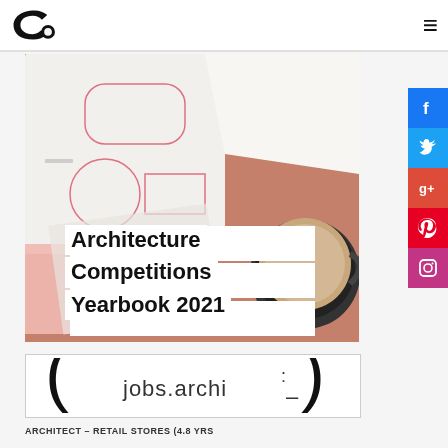Architecture competitions website logo and navigation
[Figure (photo): Architectural sketches and drawings on paper with a coffee cup, reddish-brown background, with overlay text 'Architecture Competitions Yearbook 2021']
Architecture Competitions Yearbook 2021
[Figure (logo): jobs.archi logo banner advertisement]
ARCHITECT – RETAIL STORES (4.8 YRS...